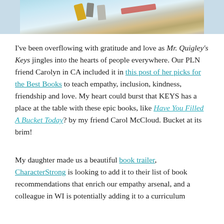[Figure (photo): Cropped bottom portion of a book cover image showing colorful keys on a light blue background, with a person's hand/clothing visible]
I've been overflowing with gratitude and love as Mr. Quigley's Keys jingles into the hearts of people everywhere. Our PLN friend Carolyn in CA included it in this post of her picks for the Best Books to teach empathy, inclusion, kindness, friendship and love. My heart could burst that KEYS has a place at the table with these epic books, like Have You Filled A Bucket Today? by my friend Carol McCloud. Bucket at its brim!
My daughter made us a beautiful book trailer, CharacterStrong is looking to add it to their list of book recommendations that enrich our empathy arsenal, and a colleague in WI is potentially adding it to a curriculum